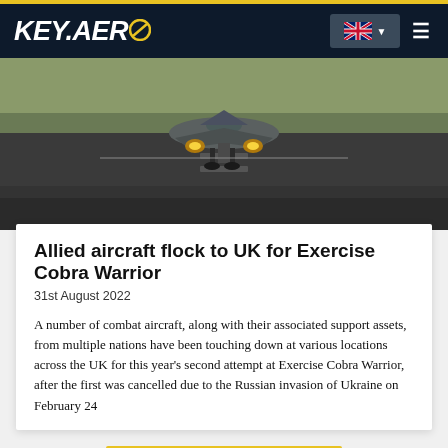KEY.AERO
[Figure (photo): Military combat aircraft (appears to be a Eurofighter Typhoon or similar) on a runway, front-facing view with landing gear down and afterburners lit]
Allied aircraft flock to UK for Exercise Cobra Warrior
31st August 2022
A number of combat aircraft, along with their associated support assets, from multiple nations have been touching down at various locations across the UK for this year's second attempt at Exercise Cobra Warrior, after the first was cancelled due to the Russian invasion of Ukraine on February 24